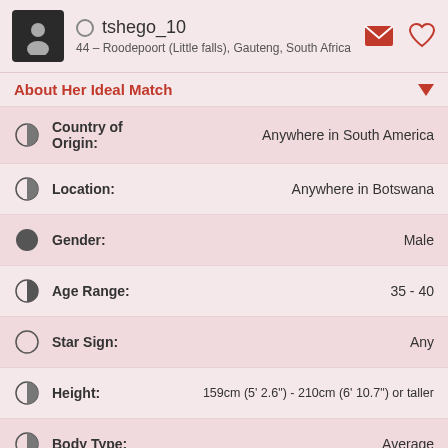tshego_10
44 – Roodepoort (Little falls), Gauteng, South Africa
About Her Ideal Match
| Field | Value |
| --- | --- |
| Country of Origin: | Anywhere in South America |
| Location: | Anywhere in Botswana |
| Gender: | Male |
| Age Range: | 35 - 40 |
| Star Sign: | Any |
| Height: | 159cm (5' 2.6") - 210cm (6' 10.7") or taller |
| Body Type: | Average |